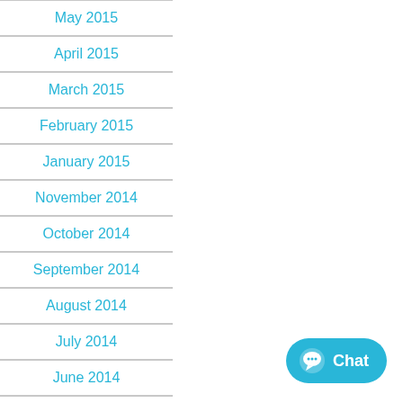May 2015
April 2015
March 2015
February 2015
January 2015
November 2014
October 2014
September 2014
August 2014
July 2014
June 2014
May 2014
April 2014
[Figure (other): Chat button widget with speech bubble icon and 'Chat' label]